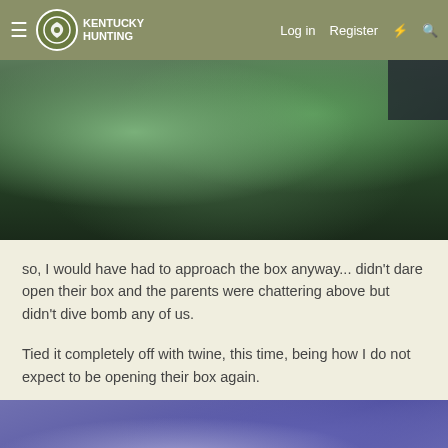Kentucky Hunting — Log in  Register
[Figure (photo): Outdoor photo showing trees with green foliage viewed from below, with dark blue fabric visible at top corners]
so, I would have had to approach the box anyway... didn't dare open their box and the parents were chattering above but didn't dive bomb any of us.
Tied it completely off with twine, this time, being how I do not expect to be opening their box again.
[Figure (photo): Close-up photo of purple/blue wooden box with hardware visible]